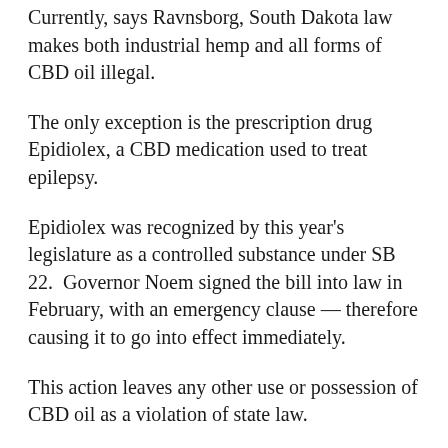Currently, says Ravnsborg, South Dakota law makes both industrial hemp and all forms of CBD oil illegal.
The only exception is the prescription drug Epidiolex, a CBD medication used to treat epilepsy.
Epidiolex was recognized by this year's legislature as a controlled substance under SB 22.  Governor Noem signed the bill into law in February, with an emergency clause — therefore causing it to go into effect immediately.
This action leaves any other use or possession of CBD oil as a violation of state law.
“Some of the confusion is likely resulting from the fact that the federal government legalized